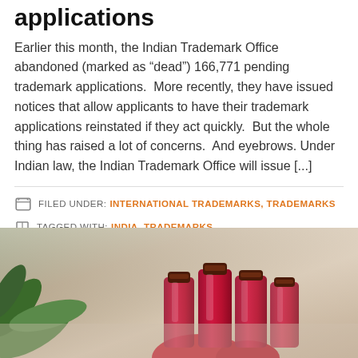applications
Earlier this month, the Indian Trademark Office abandoned (marked as “dead”) 166,771 pending trademark applications.  More recently, they have issued notices that allow applicants to have their trademark applications reinstated if they act quickly.  But the whole thing has raised a lot of concerns.  And eyebrows. Under Indian law, the Indian Trademark Office will issue [...]
FILED UNDER: INTERNATIONAL TRADEMARKS, TRADEMARKS
TAGGED WITH: INDIA, TRADEMARKS
[Figure (photo): Photo of multiple small red/pink juice bottles with dark caps, arranged together, with green tropical plants in the background and a misty/foggy atmosphere]